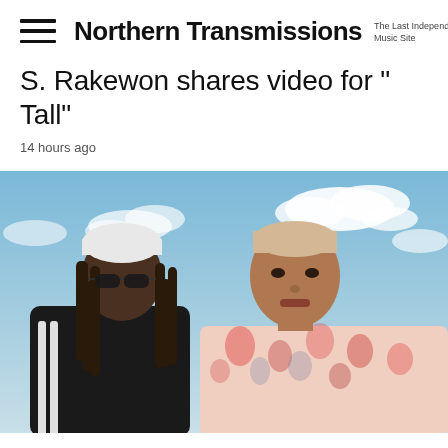Northern Transmissions — The Last Independent Music Site
S. Rakewon shares video for " Tall"
14 hours ago
[Figure (photo): Two people standing against a blue sky with clouds. On the left is a person with long dreadlocks, a white beanie, sunglasses, and a black tracksuit with white stripes. On the right is a person with short bleached hair wearing a floral patterned top.]